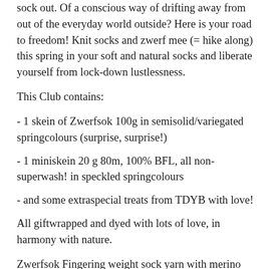sock out. Of a conscious way of drifting away from out of the everyday world outside? Here is your road to freedom! Knit socks and zwerf mee (= hike along) this spring in your soft and natural socks and liberate yourself from lock-down lustlessness.
This Club contains:
- 1 skein of Zwerfsok 100g in semisolid/variegated springcolours (surprise, surprise!)
- 1 miniskein 20 g 80m, 100% BFL, all non-superwash! in speckled springcolours
- and some extraspecial treats from TDYB with love!
All giftwrapped and dyed with lots of love, in harmony with nature.
Zwerfsok Fingering weight sock yarn with merino